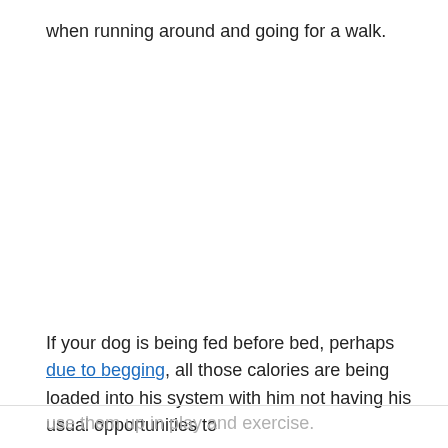when running around and going for a walk.
If your dog is being fed before bed, perhaps due to begging, all those calories are being loaded into his system with him not having his usual opportunities to use them up in play and exercise.